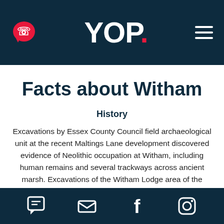YOP.
Facts about Witham
History
Excavations by Essex County Council field archaeological unit at the recent Maltings Lane development discovered evidence of Neolithic occupation at Witham, including human remains and several trackways across ancient marsh. Excavations of the Witham Lodge area of the